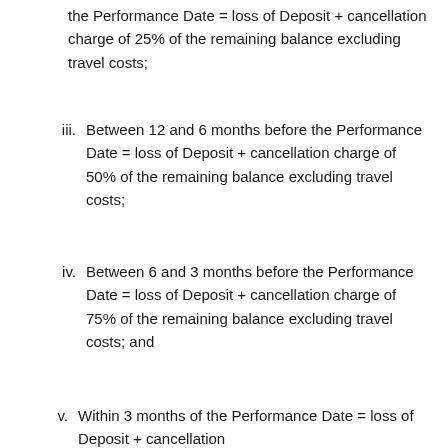the Performance Date = loss of Deposit + cancellation charge of 25% of the remaining balance excluding travel costs;
iii. Between 12 and 6 months before the Performance Date = loss of Deposit + cancellation charge of 50% of the remaining balance excluding travel costs;
iv. Between 6 and 3 months before the Performance Date = loss of Deposit + cancellation charge of 75% of the remaining balance excluding travel costs; and
v. Within 3 months of the Performance Date = loss of Deposit + cancellation